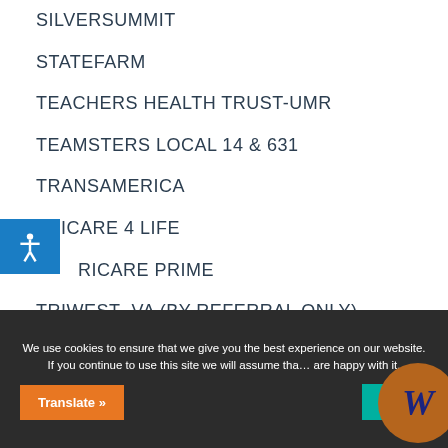SILVERSUMMIT
STATEFARM
TEACHERS HEALTH TRUST-UMR
TEAMSTERS LOCAL 14 & 631
TRANSAMERICA
TRICARE 4 LIFE
TRICARE PRIME
TRIWEST- VA (BY REFERRAL ONLY)
UAIC
We use cookies to ensure that we give you the best experience on our website. If you continue to use this site we will assume that you are happy with it.